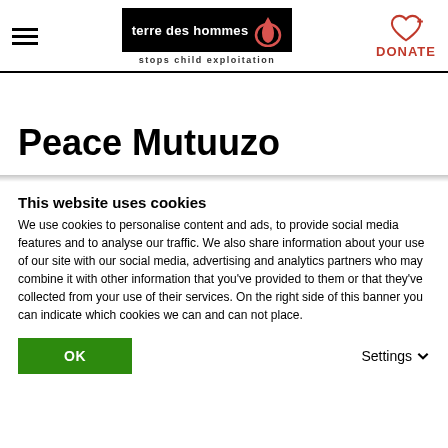terre des hommes - stops child exploitation | DONATE
Peace Mutuuzo
This website uses cookies
We use cookies to personalise content and ads, to provide social media features and to analyse our traffic. We also share information about your use of our site with our social media, advertising and analytics partners who may combine it with other information that you've provided to them or that they've collected from your use of their services. On the right side of this banner you can indicate which cookies we can and can not place.
OK | Settings